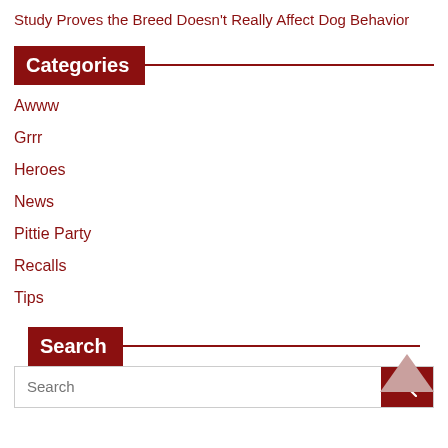Study Proves the Breed Doesn't Really Affect Dog Behavior
Categories
Awww
Grrr
Heroes
News
Pittie Party
Recalls
Tips
Search
Search